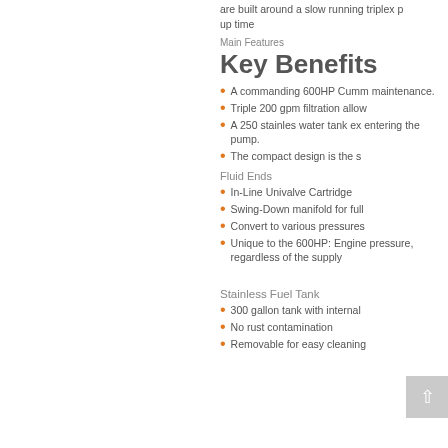are built around a slow running triplex p up time
Main Features
Key Benefits
A commanding 600HP Cumm maintenance.
Triple 200 gpm filtration allow
A 250 stainles water tank ex entering the pump.
The compact design is the s
Fluid Ends
In-Line Univalve Cartridge
Swing-Down manifold for full
Convert to various pressures
Unique to the 600HP: Engine pressure, regardless of the supply
Stainless Fuel Tank
300 gallon tank with internal
No rust contamination
Removable for easy cleaning